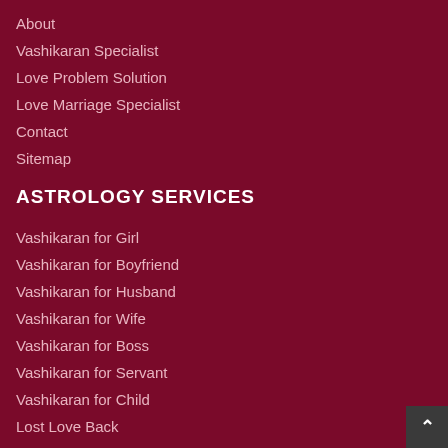About
Vashikaran Specialist
Love Problem Solution
Love Marriage Specialist
Contact
Sitemap
ASTROLOGY SERVICES
Vashikaran for Girl
Vashikaran for Boyfriend
Vashikaran for Husband
Vashikaran for Wife
Vashikaran for Boss
Vashikaran for Servant
Vashikaran for Child
Lost Love Back